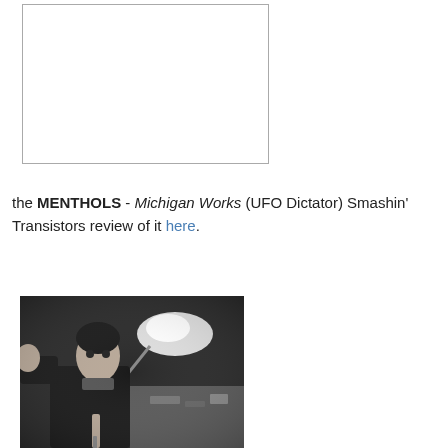[Figure (other): White rectangle with thin border — placeholder image area]
the MENTHOLS - Michigan Works (UFO Dictator) Smashin' Transistors review of it here.
[Figure (photo): Black and white photograph of a person sitting near a bright lamp, holding a pencil or stick, with workshop items in the background]